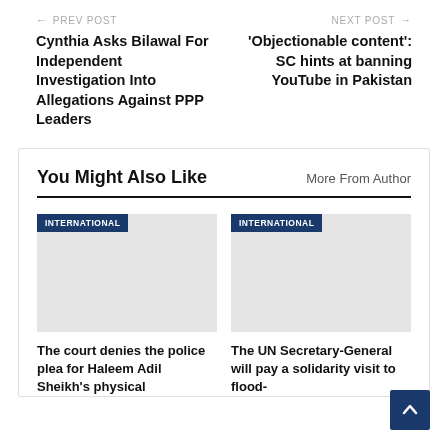← PREV POST
Cynthia Asks Bilawal For Independent Investigation Into Allegations Against PPP Leaders
NEXT POST →
'Objectionable content': SC hints at banning YouTube in Pakistan
You Might Also Like
More From Author
[Figure (photo): Placeholder image with INTERNATIONAL badge]
The court denies the police plea for Haleem Adil Sheikh's physical
[Figure (photo): Placeholder image with INTERNATIONAL badge]
The UN Secretary-General will pay a solidarity visit to flood-